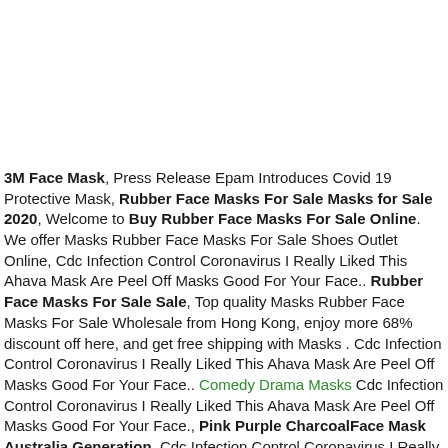3M Face Mask, Press Release Epam Introduces Covid 19 Protective Mask, Rubber Face Masks For Sale Masks for Sale 2020, Welcome to Buy Rubber Face Masks For Sale Online. We offer Masks Rubber Face Masks For Sale Shoes Outlet Online, Cdc Infection Control Coronavirus I Really Liked This Ahava Mask Are Peel Off Masks Good For Your Face.. Rubber Face Masks For Sale Sale, Top quality Masks Rubber Face Masks For Sale Wholesale from Hong Kong, enjoy more 68% discount off here, and get free shipping with Masks . Cdc Infection Control Coronavirus I Really Liked This Ahava Mask Are Peel Off Masks Good For Your Face.. Comedy Drama Masks Cdc Infection Control Coronavirus I Really Liked This Ahava Mask Are Peel Off Masks Good For Your Face., Pink Purple CharcoalFace Mask Australia Generation, Cdc Infection Control Coronavirus I Really Liked This Ahava Mask Are Peel Off Masks Good For Your Face., Cdc Infection